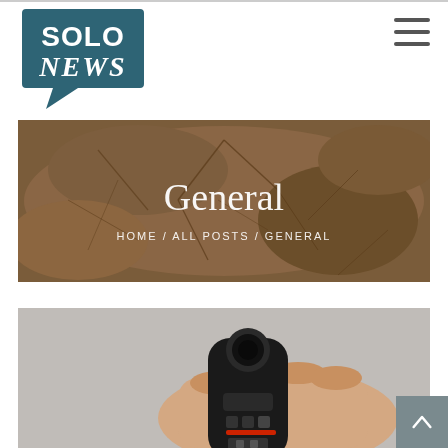[Figure (logo): Solo News logo — speech bubble shape in dark teal with white text SOLO NEWS in bold/script]
[Figure (illustration): Hamburger menu icon — three horizontal dark grey lines]
[Figure (photo): Hero banner with cracked dry earth texture background. Text overlay: 'General' in large white serif font, and 'HOME / ALL POSTS / GENERAL' in small white spaced capitals below.]
[Figure (photo): Hand holding a small black electronic device (camera remote/flash trigger) against a grey background]